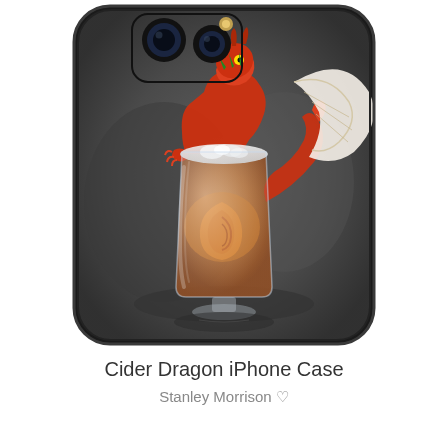[Figure (illustration): A smartphone iPhone case displaying artwork of a red dragon perched on and inside a tall glass cider mug filled with amber liquid. The dragon is red-orange with green accents and white wings, curled around the glass. The phone case has a dark rounded rectangular shape with two camera lenses visible at the top. The background of the artwork is dark grey stone-like texture.]
Cider Dragon iPhone Case
Stanley Morrison ♡